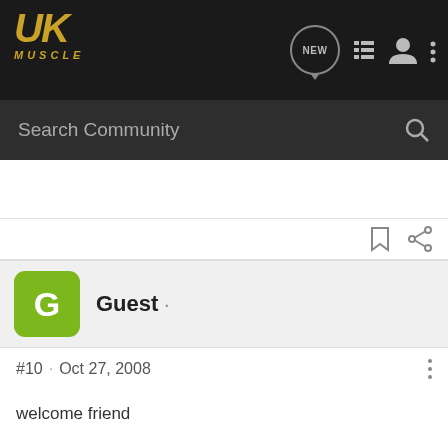UKMuscle – Search Community navigation bar
Guest ·
#10 · Oct 27, 2008
welcome friend